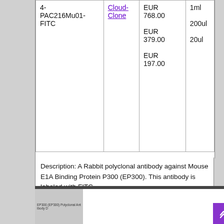| Product ID | Vendor | Price | Size |
| --- | --- | --- | --- |
| 4-PAC216Mu01-FITC | Cloud-Clone | EUR 768.00
EUR 379.00
EUR 197.00 | 1ml
200ul
20ul |
Description: A Rabbit polyclonal antibody against Mouse E1A Binding Protein P300 (EP300). This antibody is labeled with FITC.
[Figure (screenshot): Screenshot of EP300 (EP300) Polyclonal Antibody product page, showing a grey thumbnail on the left and white content area on the right.]